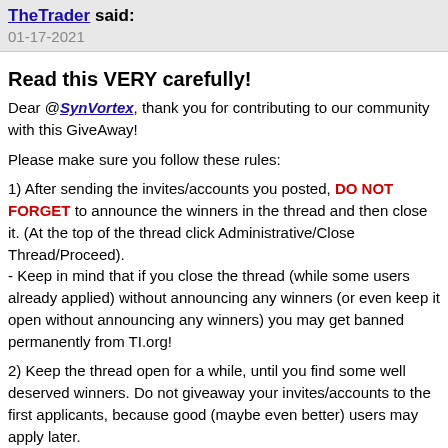TheTrader said:
01-17-2021
Read this VERY carefully!
Dear @SynVortex, thank you for contributing to our community with this GiveAway!

Please make sure you follow these rules:

1) After sending the invites/accounts you posted, DO NOT FORGET to announce the winners in the thread and then close it. (At the top of the thread click Administrative/Close Thread/Proceed).
- Keep in mind that if you close the thread (while some users already applied) without announcing any winners (or even keep it open without announcing any winners) you may get banned permanently from TI.org!

2) Keep the thread open for a while, until you find some well deserved winners. Do not giveaway your invites/accounts to the first applicants, because good (maybe even better) users may apply later.
- The MAXIMUM period of time you can keep a thread open is 4 weeks. This is allowed ONLY for really good/rare trackers. For the closure date, leave a couple in each day.